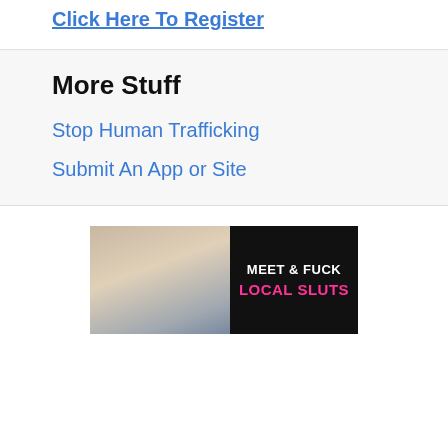Click Here To Register
More Stuff
Stop Human Trafficking
Submit An App or Site
[Figure (photo): Advertisement banner with photo of person on left and text 'MEET & FUCK LOCAL SLUTS' on black background on right]